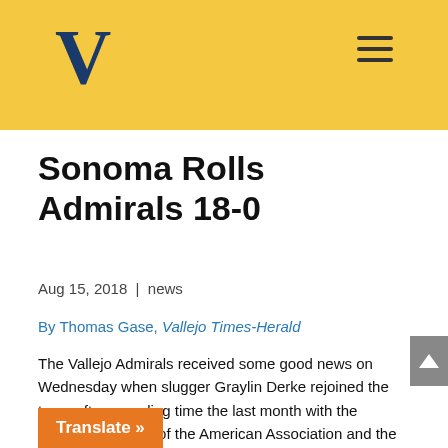V (Vallejo logo) | hamburger menu
Sonoma Rolls Admirals 18-0
Aug 15, 2018 | news
By Thomas Gase, Vallejo Times-Herald
The Vallejo Admirals received some good news on Wednesday when slugger Graylin Derke rejoined the team after spending time the last month with the Wichita Wingnuts of the American Association and the Florence Freedom of the Frontier League.